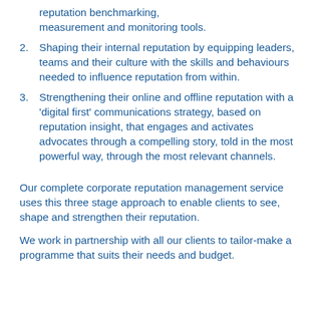reputation benchmarking, measurement and monitoring tools.
2. Shaping their internal reputation by equipping leaders, teams and their culture with the skills and behaviours needed to influence reputation from within.
3. Strengthening their online and offline reputation with a 'digital first' communications strategy, based on reputation insight, that engages and activates advocates through a compelling story, told in the most powerful way, through the most relevant channels.
Our complete corporate reputation management service uses this three stage approach to enable clients to see, shape and strengthen their reputation.
We work in partnership with all our clients to tailor-make a programme that suits their needs and budget.